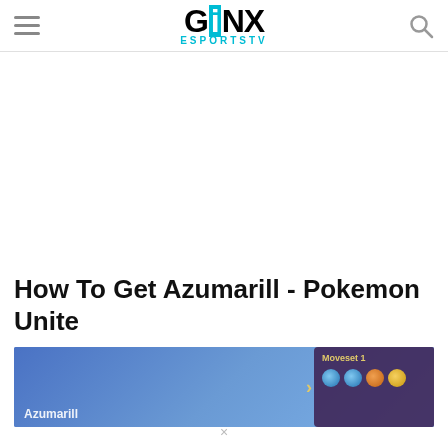GINX ESPORTS TV
How To Get Azumarill - Pokemon Unite
[Figure (screenshot): Screenshot from Pokemon Unite showing Azumarill character selection screen with a dark purple panel on the right showing 'Moveset 1' and item icons]